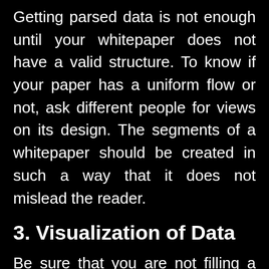Getting parsed data is not enough until your whitepaper does not have a valid structure. To know if your paper has a uniform flow or not, ask different people for views on its design. The segments of a whitepaper should be created in such a way that it does not mislead the reader.
3. Visualization of Data
Be sure that you are not filling a whitepaper with textual data. Give your data a kind of image that helps the readers understand what you are trying to convey. Start emphasizing on